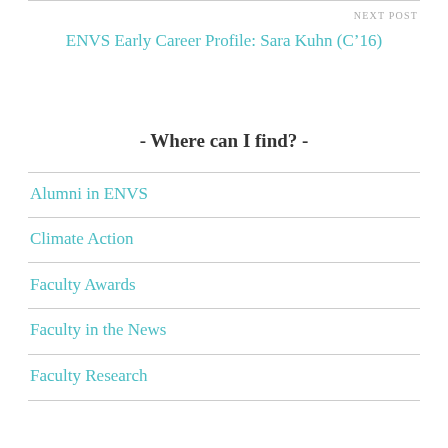NEXT POST
ENVS Early Career Profile: Sara Kuhn (C’16)
- Where can I find? -
Alumni in ENVS
Climate Action
Faculty Awards
Faculty in the News
Faculty Research